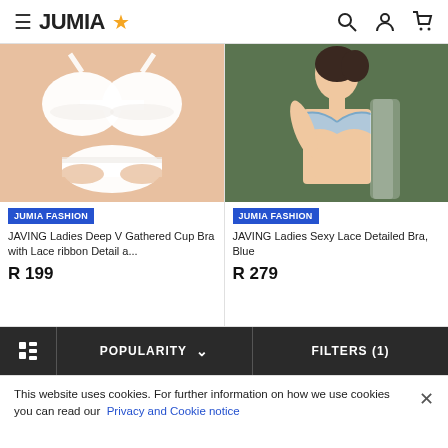JUMIA (logo with star)
[Figure (photo): White bra and panty set on peach/salmon background]
[Figure (photo): Asian woman wearing light blue lace bra against green wall]
JUMIA FASHION
JAVING Ladies Deep V Gathered Cup Bra with Lace ribbon Detail a...
R 199
JUMIA FASHION
JAVING Ladies Sexy Lace Detailed Bra, Blue
R 279
POPULARITY ∨
FILTERS (1)
This website uses cookies. For further information on how we use cookies you can read our Privacy and Cookie notice